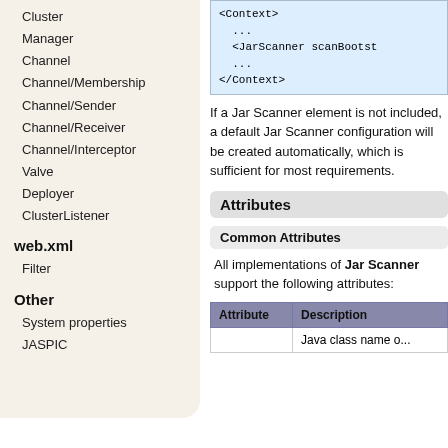Cluster
Manager
Channel
Channel/Membership
Channel/Sender
Channel/Receiver
Channel/Interceptor
Valve
Deployer
ClusterListener
web.xml
Filter
Other
System properties
JASPIC
[Figure (screenshot): Code block showing XML snippet: <Context> ... <JarScanner scanBootst... ... </Context>]
If a Jar Scanner element is not included, a default Jar Scanner configuration will be created automatically, which is sufficient for most requirements.
Attributes
Common Attributes
All implementations of Jar Scanner support the following attributes:
| Attribute | Description |
| --- | --- |
|  | Java class name o... |